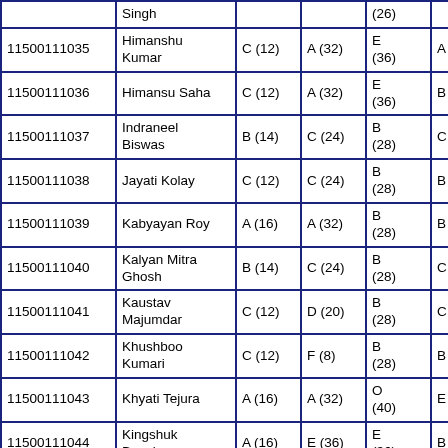| ID | Name | Col3 | Col4 | Col5 | Col6 | Col7 |
| --- | --- | --- | --- | --- | --- | --- |
|  | Singh |  |  | (26) |  |  |
| 11500111035 | Himanshu Kumar | C (12) | A (32) | E (36) | A (32) | E (36… |
| 11500111036 | Himansu Saha | C (12) | A (32) | E (36) | B (28) | A (32… |
| 11500111037 | Indraneel Biswas | B (14) | C (24) | B (28) | C (24) | A (32… |
| 11500111038 | Jayati Kolay | C (12) | C (24) | B (28) | B (28) | B (28… |
| 11500111039 | Kabyayan Roy | A (16) | A (32) | B (28) | B (28) | B (28… |
| 11500111040 | Kalyan Mitra Ghosh | B (14) | C (24) | B (28) | C (24) | B (28… |
| 11500111041 | Kaustav Majumdar | C (12) | D (20) | B (28) | C (24) | B (28… |
| 11500111042 | Khushboo Kumari | C (12) | F (8) | B (28) | B (28) | C (24… |
| 11500111043 | Khyati Tejura | A (16) | A (32) | O (40) | E (36) | E (36… |
| 11500111044 | Kingshuk Basak | A (16) | E (36) | E (36) | B (28) | O (40… |
| 11500111045 | Kishor K… | C (12… | B (28… | B | B (28… | C… |